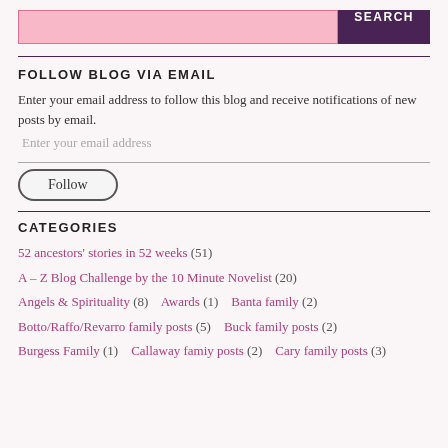[Figure (other): Search bar with pink input field and dark purple SEARCH button]
FOLLOW BLOG VIA EMAIL
Enter your email address to follow this blog and receive notifications of new posts by email.
Enter your email address
Follow
CATEGORIES
52 ancestors' stories in 52 weeks (51)
A – Z Blog Challenge by the 10 Minute Novelist (20)
Angels & Spirituality (8)   Awards (1)   Banta family (2)
Botto/Raffo/Revarro family posts (5)   Buck family posts (2)
Burgess Family (1)   Callaway famiy posts (2)   Cary family posts (3)